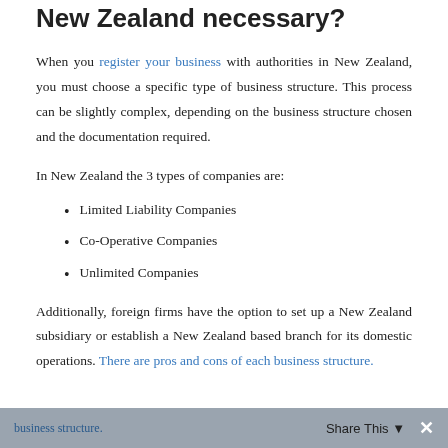New Zealand necessary?
When you register your business with authorities in New Zealand, you must choose a specific type of business structure. This process can be slightly complex, depending on the business structure chosen and the documentation required.
In New Zealand the 3 types of companies are:
Limited Liability Companies
Co-Operative Companies
Unlimited Companies
Additionally, foreign firms have the option to set up a New Zealand subsidiary or establish a New Zealand based branch for its domestic operations. There are pros and cons of each business structure.
Share This ✕